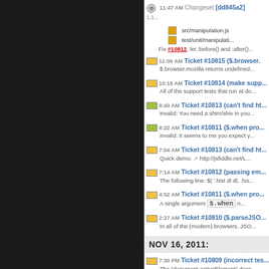11:47 AM Changeset [dd845a2] 1.1...
src/manipulation.js
test/unit/manipulati...
Fix #10812, let :before() and :after()...
11:06 AM Ticket #10815 ($.browser... $.browser.mozilla returns undefined...
10:18 AM Ticket #10814 (make supp... All of the support tests that run at do...
8:40 AM Ticket #10813 (can't find ht... invalid: You need a shim/shiv in you...
8:22 AM Ticket #10811 ($.when pro... invalid: It seems to me you expect y...
7:04 AM Ticket #10813 (can't find ht... Quick demo: http://jsfiddle.net/L...
7:14 AM Ticket #10812 (passing em... The following line: $( '.hist dl dl, .his...
4:52 AM Ticket #10811 ($.when pro... A single argument $.when n...
2:27 AM Ticket #10810 ($.parseJSO... In all of the (modern) browsers, JSO...
NOV 16, 2011:
7:30 PM Ticket #10809 (incorrect tes... The 'document.activeElement' does...
Ticket #10808 (IE8 Dont...